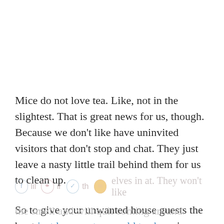Mice do not love tea. Like, not in the slightest. That is great news for us, though. Because we don't like have uninvited visitors that don't stop and chat. They just leave a nasty little trail behind them for us to clean up.
So to give your unwanted house guests the boot just leave out your old tea bags in areas where [social share bar] elves in at. They won't like the smell and will quit coming around.